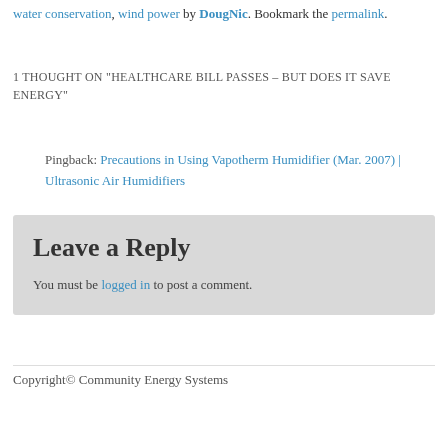water conservation, wind power by DougNic. Bookmark the permalink.
1 THOUGHT ON "HEALTHCARE BILL PASSES – BUT DOES IT SAVE ENERGY"
Pingback: Precautions in Using Vapotherm Humidifier (Mar. 2007) | Ultrasonic Air Humidifiers
Leave a Reply
You must be logged in to post a comment.
Copyright© Community Energy Systems